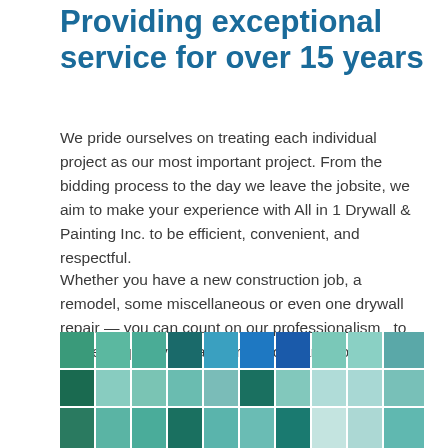Providing exceptional service for over 15 years
We pride ourselves on treating each individual project as our most important project. From the bidding process to the day we leave the jobsite, we aim to make your experience with All in 1 Drywall & Painting Inc. to be efficient, convenient, and respectful.
Whether you have a new construction job, a remodel, some miscellaneous or even one drywall repair — you can count on our professionalism  to deliver a quality job at a price you can afford.
[Figure (illustration): A mosaic/tile pattern of various shades of teal, green, blue, and cyan colored squares arranged in a grid pattern at the bottom of the page.]